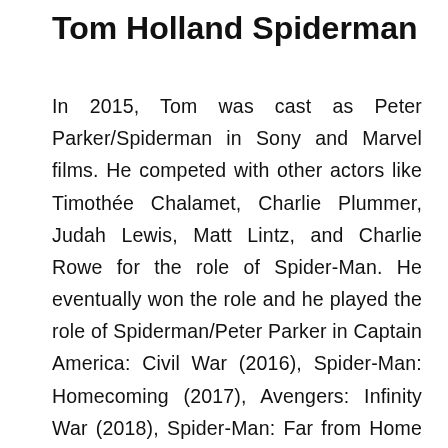Tom Holland Spiderman
In 2015, Tom was cast as Peter Parker/Spiderman in Sony and Marvel films. He competed with other actors like Timothée Chalamet, Charlie Plummer, Judah Lewis, Matt Lintz, and Charlie Rowe for the role of Spider-Man. He eventually won the role and he played the role of Spiderman/Peter Parker in Captain America: Civil War (2016), Spider-Man: Homecoming (2017), Avengers: Infinity War (2018), Spider-Man: Far from Home (2019),